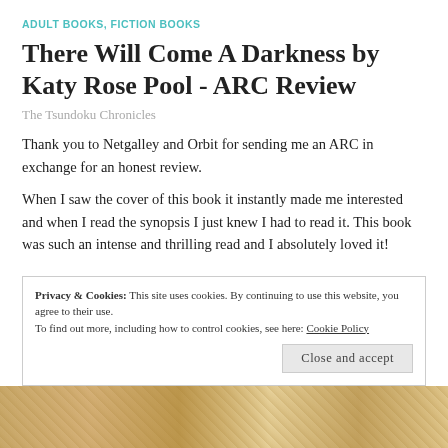ADULT BOOKS, FICTION BOOKS
There Will Come A Darkness by Katy Rose Pool - ARC Review
The Tsundoku Chronicles
Thank you to Netgalley and Orbit for sending me an ARC in exchange for an honest review.
When I saw the cover of this book it instantly made me interested and when I read the synopsis I just knew I had to read it. This book was such an intense and thrilling read and I absolutely loved it!
Privacy & Cookies: This site uses cookies. By continuing to use this website, you agree to their use.
To find out more, including how to control cookies, see here: Cookie Policy
Close and accept
[Figure (photo): Partial bottom strip showing book pages/spine image]